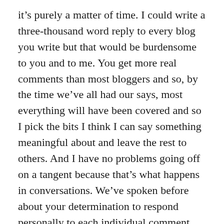it's purely a matter of time. I could write a three-thousand word reply to every blog you write but that would be burdensome to you and to me. You get more real comments than most bloggers and so, by the time we've all had our says, most everything will have been covered and so I pick the bits I think I can say something meaningful about and leave the rest to others. And I have no problems going off on a tangent because that's what happens in conversations. We've spoken before about your determination to respond personally to each individual comment. It's commendable and I suppose, as long as you only post once a week, doable. But it is also a burden. The bible talks about loads and burdens. Until someone